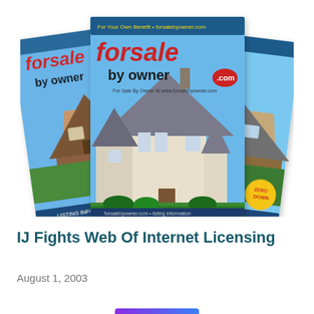[Figure (photo): Three overlapping magazine covers of 'For Sale By Owner .com' showing houses on their covers. The center magazine is most prominent, showing a Tudor-style white house. The left and right magazines are slightly behind, also showing residential homes.]
IJ Fights Web Of Internet Licensing
August 1, 2003